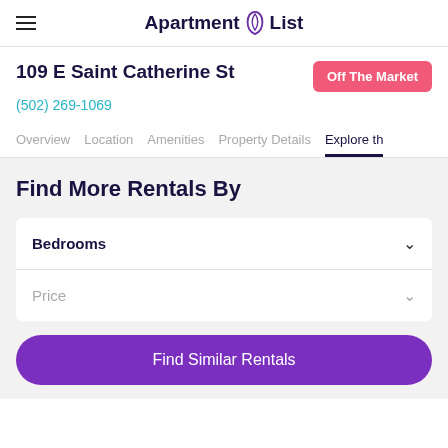Apartment List
109 E Saint Catherine St
Off The Market
(502) 269-1069
Overview  Location  Amenities  Property Details  Explore th
Find More Rentals By
Bedrooms
Price
Find Similar Rentals